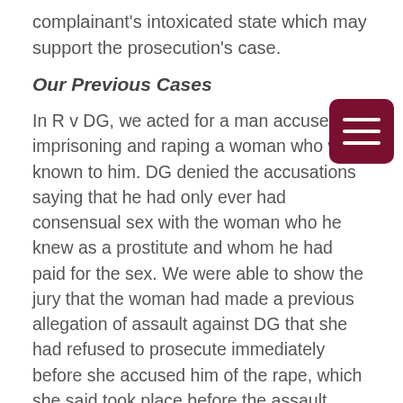complainant's intoxicated state which may support the prosecution's case.
Our Previous Cases
In R v DG, we acted for a man accused of imprisoning and raping a woman who was known to him. DG denied the accusations saying that he had only ever had consensual sex with the woman who he knew as a prostitute and whom he had paid for the sex. We were able to show the jury that the woman had made a previous allegation of assault against DG that she had refused to prosecute immediately before she accused him of the rape, which she said took place before the assault allegation was made. DG was acquitted at trial.
We also represented DV when he was accused of...